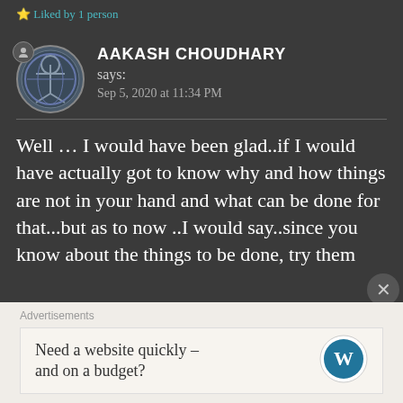Liked by 1 person
AAKASH CHOUDHARY says: Sep 5, 2020 at 11:34 PM
Well … I would have been glad..if I would have actually got to know why and how things are not in your hand and what can be done for that...but as to now ..I would say..since you know about the things to be done, try them
Advertisements
Need a website quickly – and on a budget?